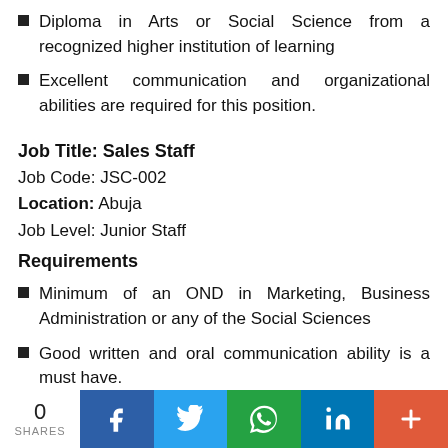Diploma in Arts or Social Science from a recognized higher institution of learning
Excellent communication and organizational abilities are required for this position.
Job Title: Sales Staff
Job Code: JSC-002
Location: Abuja
Job Level: Junior Staff
Requirements
Minimum of an OND in Marketing, Business Administration or any of the Social Sciences
Good written and oral communication ability is a must have.
0 SHARES | Facebook | Twitter | WhatsApp | LinkedIn | More